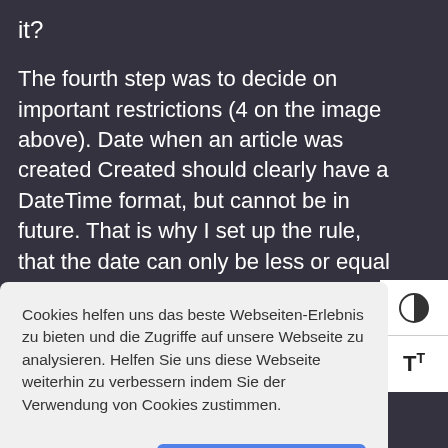it?
The fourth step was to decide on important restrictions (4 on the image above). Date when an article was created Created should clearly have a DateTime format, but cannot be in future. That is why I set up the rule, that the date can only be less or equal today's date. I also made this field obligatory.
Cookies helfen uns das beste Webseiten-Erlebnis zu bieten und die Zugriffe auf unsere Webseite zu analysieren. Helfen Sie uns diese Webseite weiterhin zu verbessern indem Sie der Verwendung von Cookies zustimmen.
Cookies ablehnen
Cookies erlauben
• Datatypes